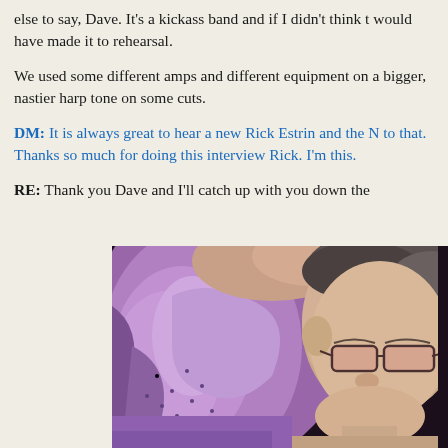else to say, Dave. It's a kickass band and if I didn't think t would have made it to rehearsal.
We used some different amps and different equipment on a bigger, nastier harp tone on some cuts.
DM: It is always great to hear a new Rick Estrin and the N to that. Thanks so much for doing this interview Rick. I'm this.
RE: Thank you Dave and I'll catch up with you down the
[Figure (photo): Close-up photo of a man wearing glasses and a purple/lavender dotted shirt, photographed from below showing his face and upper torso. The image is partially cropped.]